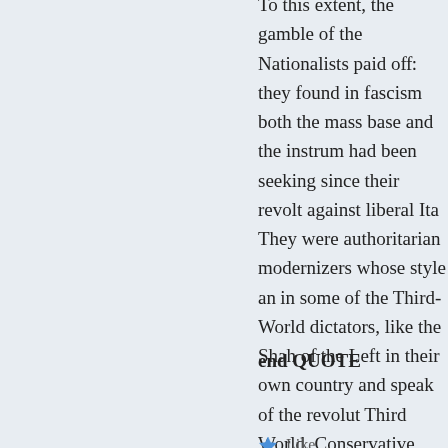To this extent, the gamble of the Nationalists paid off: they found in fascism both the mass base and the instrument they had been seeking since their revolt against liberal Italy. They were authoritarian modernizers whose style anticipated in some of the Third-World dictators, like the Shah of Iran, the Left in their own country and speak of the revolution of the Third World. Conservative modernization is a difficult task: it requires a amount of mobilization of the masses, which the conservative finds disturbing. Fascism found a way around this problem, but it did so by creating a regime of irresponsibility under the guise of an authoritarian discipline, with private fiefdoms (Church, industry, army, party, corporations) in which Mussolini acted as mediator.
end QUOTE
Like
Reply
Jon Maier says:
2017-08-27 at 9:15 PM